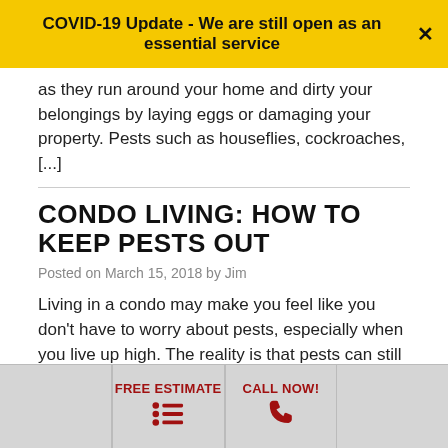COVID-19 Update - We are still open as an essential service
as they run around your home and dirty your belongings by laying eggs or damaging your property. Pests such as houseflies, cockroaches, [...]
CONDO LIVING: HOW TO KEEP PESTS OUT
Posted on March 15, 2018 by Jim
Living in a condo may make you feel like you don't have to worry about pests, especially when you live up high. The reality is that pests can still find ways into your unit, whether they climb all the way up from the ground floor or you accidentally bring them in yourself on your shoes, [...]
FREE ESTIMATE | CALL NOW!